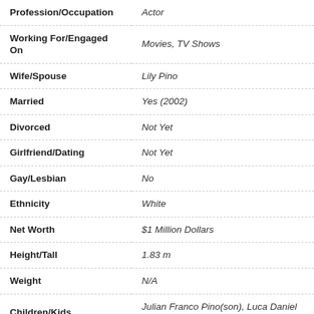| Attribute | Value |
| --- | --- |
| Profession/Occupation | Actor |
| Working For/Engaged On | Movies, TV Shows |
| Wife/Spouse | Lily Pino |
| Married | Yes (2002) |
| Divorced | Not Yet |
| Girlfriend/Dating | Not Yet |
| Gay/Lesbian | No |
| Ethnicity | White |
| Net Worth | $1 Million Dollars |
| Height/Tall | 1.83 m |
| Weight | N/A |
| Children/Kids | Julian Franco Pino(son), Luca Daniel Pino(son) |
His killer looks and intense eyes can make any woman fall for her. The very handsome Danny Pino was born in the year 1974 on 15th April which makes him 42 years old at the